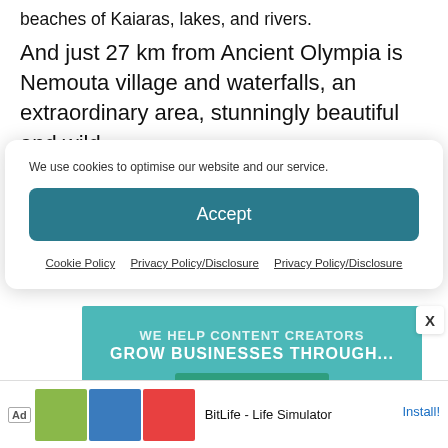beaches of Kaiaras, lakes, and rivers.
And just 27 km from Ancient Olympia is Nemouta village and waterfalls, an extraordinary area, stunningly beautiful and wild.
We use cookies to optimise our website and our service.
Accept
Cookie Policy   Privacy Policy/Disclosure   Privacy Policy/Disclosure
[Figure (other): Teal advertisement banner: WE HELP CONTENT CREATORS GROW BUSINESSES THROUGH... with a LEARN MORE button]
[Figure (other): Bottom mobile ad bar: Ad label, app icon images, BitLife - Life Simulator, Install! link]